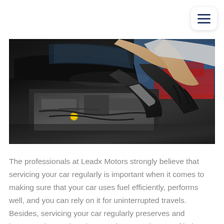[Figure (photo): A mechanic wearing dark gloves working on a car engine with the hood open, in an auto repair shop setting.]
The professionals at Leadx Motors strongly believe that servicing your car regularly is important when it comes to making sure that your car uses fuel efficiently, performs well, and you can rely on it for uninterrupted travels. Besides, servicing your car regularly preserves and increases its resale value. Leadx Motors boasts of being top company offering